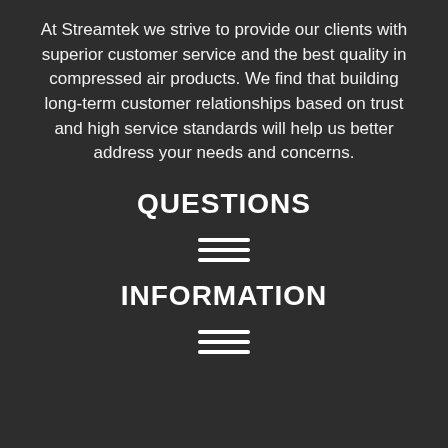At Streamtek we strive to provide our clients with superior customer service and the best quality in compressed air products. We find that building long-term customer relationships based on trust and high service standards will help us better address your needs and concerns.
QUESTIONS
[Figure (other): Hamburger menu icon with three horizontal lines]
INFORMATION
[Figure (other): Hamburger menu icon with three horizontal lines]